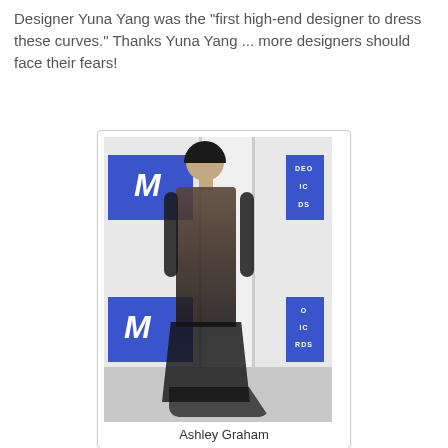Designer Yuna Yang was the "first high-end designer to dress these curves." Thanks Yuna Yang ... more designers should face their fears!
[Figure (photo): Full-length photo of Ashley Graham in a sheer black embellished gown at what appears to be the MTV Video Music Awards red carpet event.]
Ashley Graham